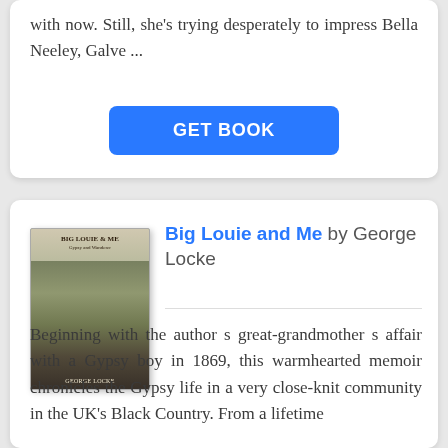with now. Still, she's trying desperately to impress Bella Neeley, Galve ...
GET BOOK
[Figure (photo): Book cover of 'Big Louie and Me' by George Locke, showing a pastoral countryside scene with a gypsy wagon]
Big Louie and Me by George Locke
Beginning with the author s great-grandmother s affair with a Gypsy boy in 1869, this warmhearted memoir chronicles the Gypsy life in a very close-knit community in the UK's Black Country. From a lifetime